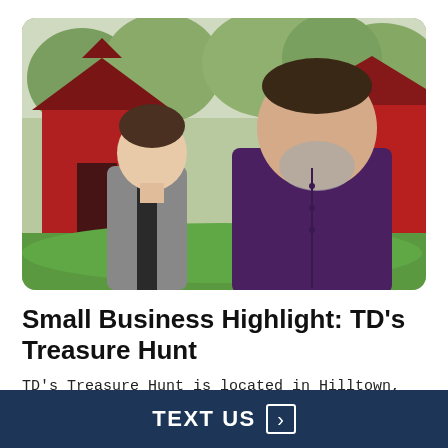[Figure (photo): Two men standing outdoors in front of a red barn with green trees in background. The man on the left is shorter, wearing a gray zip-up fleece jacket, looking up at the man on the right. The man on the right is large, wearing a dark purple button-up shirt with a short gray beard, facing forward with mouth slightly open.]
Small Business Highlight: TD's Treasure Hunt
TD's Treasure Hunt is located in Hilltown, but operates in the Bucks & Montgomery Coun
TEXT US ›